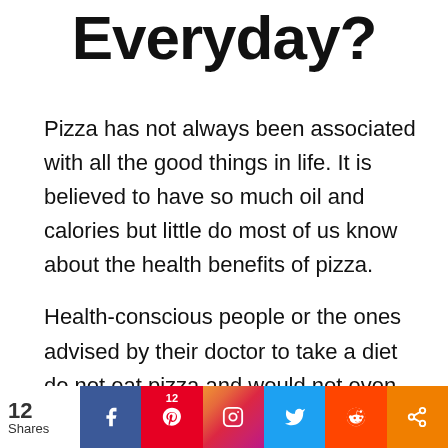Everyday?
Pizza has not always been associated with all the good things in life. It is believed to have so much oil and calories but little do most of us know about the health benefits of pizza.
Health-conscious people or the ones advised by their doctor to take a diet do not eat pizza and would not even consider it.
That trend continues up to this day.
12 Shares | Facebook | Pinterest 12 | Instagram | Twitter | Reddit | Share